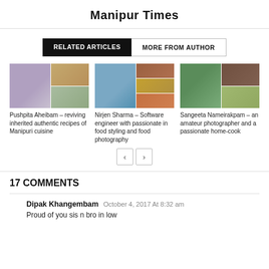Manipur Times
RELATED ARTICLES | MORE FROM AUTHOR
[Figure (photo): Article thumbnail collage: woman with child and food dishes for Pushpita Aheibam article]
Pushpita Aheibam – reviving inherited authentic recipes of Manipuri cuisine
[Figure (photo): Article thumbnail collage: man sitting outdoors and food photos for Nirjen Sharma article]
Nirjen Sharma – Software engineer with passionate in food styling and food photography
[Figure (photo): Article thumbnail collage: Christmas tree, children and food for Sangeeta Nameirakpam article]
Sangeeta Nameirakpam – an amateur photographer and a passionate home-cook
17 COMMENTS
Dipak Khangembam  October 4, 2017 At 8:32 am
Proud of you sis n bro in low